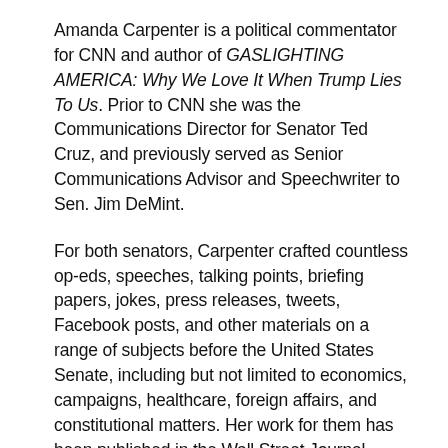Amanda Carpenter is a political commentator for CNN and author of GASLIGHTING AMERICA: Why We Love It When Trump Lies To Us. Prior to CNN she was the Communications Director for Senator Ted Cruz, and previously served as Senior Communications Advisor and Speechwriter to Sen. Jim DeMint.
For both senators, Carpenter crafted countless op-eds, speeches, talking points, briefing papers, jokes, press releases, tweets, Facebook posts, and other materials on a range of subjects before the United States Senate, including but not limited to economics, campaigns, healthcare, foreign affairs, and constitutional matters. Her work for them has been published in the Wall Street Journal, New York Times, Washington Post, and other outlets.